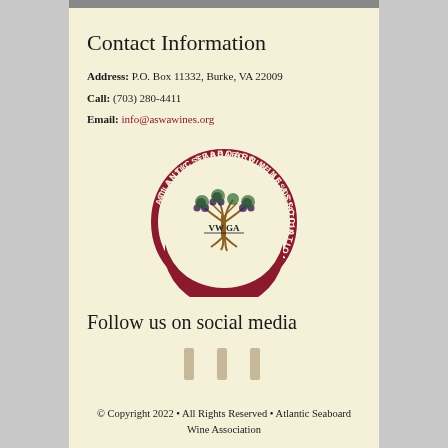Contact Information
Address: P.O. Box 11332,  Burke, VA  22009
Call: (703) 280-4411
Email: info@aswawines.org
[Figure (logo): Atlantic Seaboard Wine Association circular logo with grape vine tree, VWGA lettering, and 1973 founding year, dark red border]
Follow us on social media
[Figure (other): Three social media icon placeholders (Facebook, Instagram, Twitter) shown as thin vertical rectangles in tan/beige color]
© Copyright 2022 • All Rights Reserved • Atlantic Seaboard Wine Association